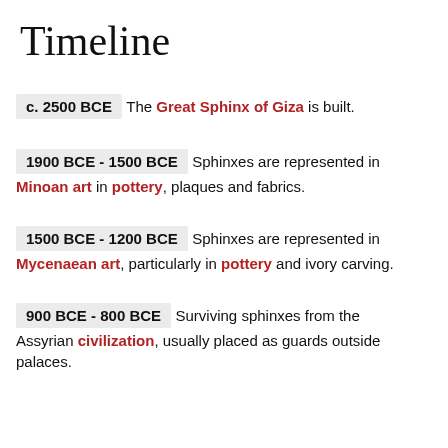Timeline
c. 2500 BCE — The Great Sphinx of Giza is built.
1900 BCE - 1500 BCE — Sphinxes are represented in Minoan art in pottery, plaques and fabrics.
1500 BCE - 1200 BCE — Sphinxes are represented in Mycenaean art, particularly in pottery and ivory carving.
900 BCE - 800 BCE — Surviving sphinxes from the Assyrian civilization, usually placed as guards outside palaces.